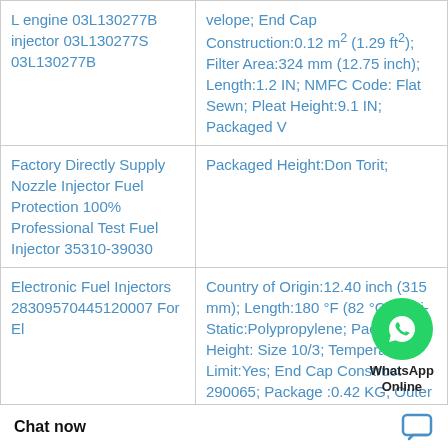| Product | Details |
| --- | --- |
| L engine 03L130277B injector 03L130277S 03L130277B | velope; End Cap Construction:0.12 m² (1.29 ft²); Filter Area:324 mm (12.75 inch); Length:1.2 IN; NMFC Code: Flat Sewn; Pleat Height:9.1 IN; Packaged V |
| Factory Directly Supply Nozzle Injector Fuel Protection 100% Professional Test Fuel Injector 35310-39030 | Packaged Height:Do n Torit; |
| Electronic Fuel Injectors 28309570445120007 For El | Country of Origin:12.40 inch (315 mm); Length:180 °F (82 °C); Anti-Static:Polypropylene; Packaged Height: Size 10/3; Temperature Limit:Yes; End Cap Construct 290065; Package :0.42 KG; Outer Di |
WhatsApp Online
Chat now